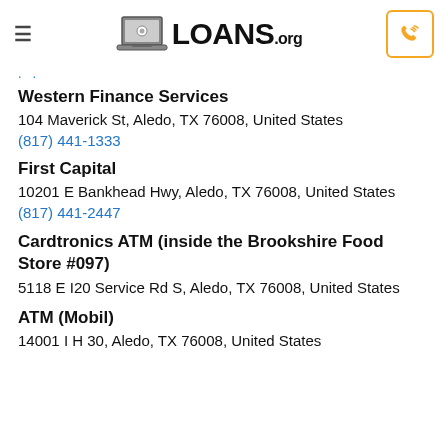LOANS.org
. .
Western Finance Services
104 Maverick St, Aledo, TX 76008, United States
(817) 441-1333
First Capital
10201 E Bankhead Hwy, Aledo, TX 76008, United States
(817) 441-2447
Cardtronics ATM (inside the Brookshire Food Store #097)
5118 E I20 Service Rd S, Aledo, TX 76008, United States
ATM (Mobil)
14001 I H 30, Aledo, TX 76008, United States